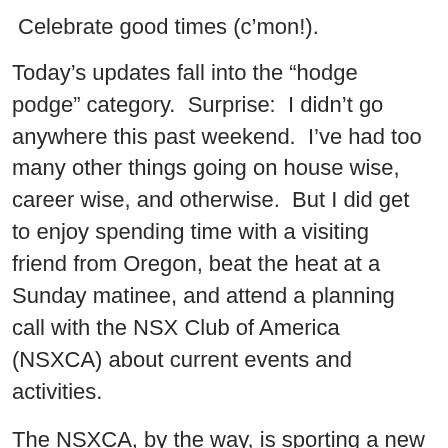Celebrate good times (c’mon!).
Today’s updates fall into the “hodge podge” category.  Surprise:  I didn’t go anywhere this past weekend.  I’ve had too many other things going on house wise, career wise, and otherwise.  But I did get to enjoy spending time with a visiting friend from Oregon, beat the heat at a Sunday matinee, and attend a planning call with the NSX Club of America (NSXCA) about current events and activities.
The NSXCA, by the way, is sporting a new website of its own.  Check it out.  I can assure you the internal member page is pretty slick – including downloadable copies of the Club’s quarterly magazine, NSX Driver.  Worth the $40 membership annually if you’re an owner or even just an enthusiast.